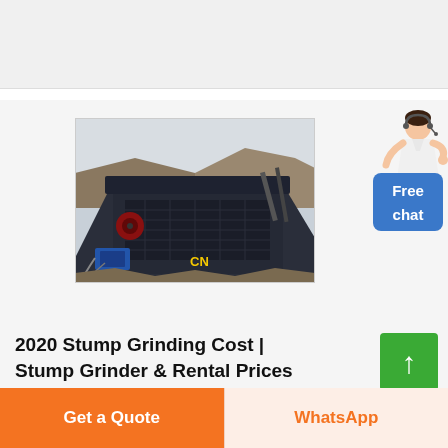[Figure (photo): Industrial mining/screening machine (vibrating screen) with yellow CN branding, photographed outdoors at a construction/mining site]
[Figure (other): Woman figure with headset next to a blue 'Free chat' button widget]
2020 Stump Grinding Cost | Stump Grinder & Rental Prices
[Figure (other): Green scroll-to-top button with upward arrow]
Get a Quote
WhatsApp